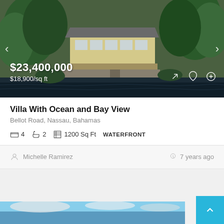[Figure (photo): Waterfront villa with large windows and deck, surrounded by green trees, reflecting on dark water below]
$23,400,000
$18,900/sq ft
Villa With Ocean and Bay View
Bellot Road, Nassau, Bahamas
4  2  1200 Sq Ft  WATERFRONT
Michelle Ramirez
7 years ago
[Figure (photo): Partial view of a sky and water scene at the bottom of the page]